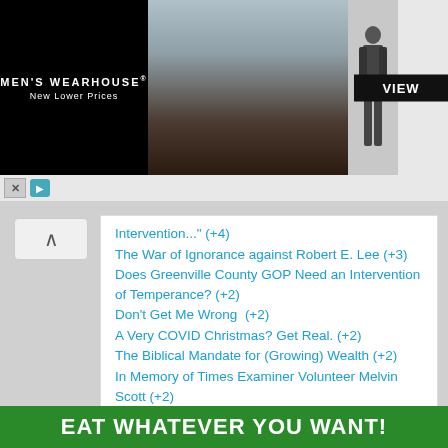[Figure (photo): Men's Wearhouse advertisement banner showing a couple in formal wear and a man in a suit, with a VIEW button]
Intervention..." (+4)
The War of Ignorance against Robert E. Lee (+3)
Does Greenville County GOP Need an Intervention of Temperance? (+2)
Don't Get Me Wrong  (+2)
A Very COVID Christmas? Get Real. (+2)
The Biblical Mandate for (Growing) Wealth (+2)
In Memory of Times Examiner Volunteer Melvin Scott (+2)
Abortion and The Return of States' Rights (+1)
Are All Court-Created Rights Now in Peril? (+1)
Double-Speak, Lies, and Precedents Driving the Convention of States (+1)
[Figure (infographic): Green banner at bottom reading EAT WHATEVER YOU WANT!]